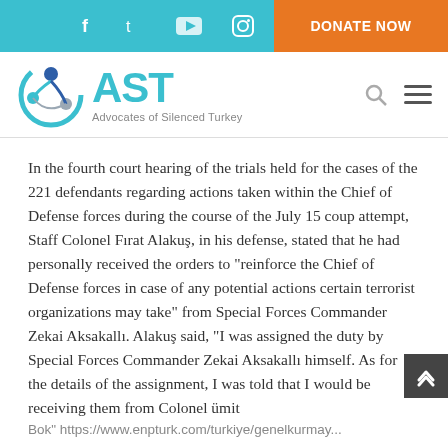AST — Advocates of Silenced Turkey
In the fourth court hearing of the trials held for the cases of the 221 defendants regarding actions taken within the Chief of Defense forces during the course of the July 15 coup attempt, Staff Colonel Fırat Alakuş, in his defense, stated that he had personally received the orders to "reinforce the Chief of Defense forces in case of any potential actions certain terrorist organizations may take" from Special Forces Commander Zekai Aksakallı. Alakuş said, "I was assigned the duty by Special Forces Commander Zekai Aksakallı himself. As for the details of the assignment, I was told that I would be receiving them from Colonel ümit
Bok" https://www.enpturk.com/turkiye/genelkurmay...